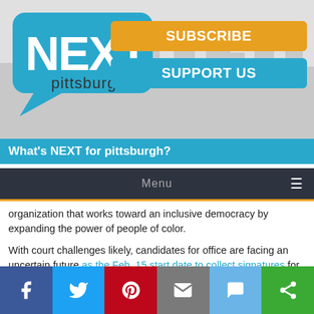[Figure (logo): NEXT Pittsburgh logo - speech bubble with NEXT in white bold text and 'pittsburgh' in dark text below, on a city skyline background with Subscribe and Support Us buttons]
What's NEXT for pittsburgh?
Menu
organization that works toward an inclusive democracy by expanding the power of people of color.
With court challenges likely, candidates for office are facing an uncertain future as the Feb. 15 start date to collect signatures for the May primary rapidly approaches.
A group of residents in areas of the state that saw large population growth over the past decade filed a suit in Commonwealth Court
[Figure (infographic): Social sharing bar with Facebook, Twitter, Pinterest, Email, SMS, and share icons]